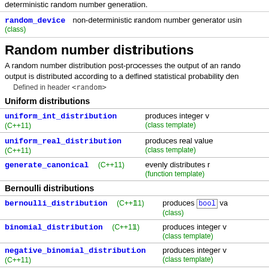deterministic random number generation.
| Name | Description |
| --- | --- |
| random_device (class) | non-deterministic random number generator using hardware entropy source |
Random number distributions
A random number distribution post-processes the output of an random number engine in such a way that the resulting output is distributed according to a defined statistical probability density function.
Defined in header <random>
Uniform distributions
| Name | Description |
| --- | --- |
| uniform_int_distribution (C++11) | produces integer values evenly distributed across a range
(class template) |
| uniform_real_distribution (C++11) | produces real values evenly distributed across a range
(class template) |
| generate_canonical (C++11) | evenly distributes real values of given precision across [0, 1)
(function template) |
Bernoulli distributions
| Name | Description |
| --- | --- |
| bernoulli_distribution (C++11) | produces bool values on a Bernoulli distribution
(class) |
| binomial_distribution (C++11) | produces integer values on a binomial distribution
(class template) |
| negative_binomial_distribution (C++11) | produces integer values on a negative binomial distribution
(class template) |
| geometric_distribution (C++11) | produces integer values on a geometric distribution
(class template) |
Poisson distributions